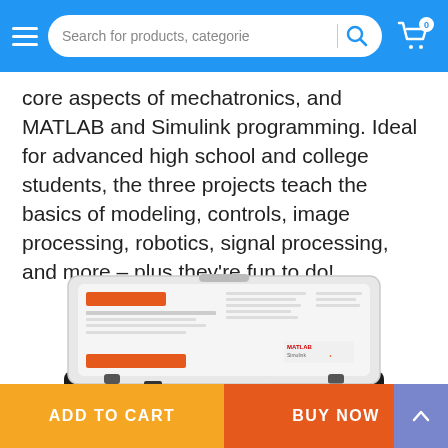Search for products, categories
core aspects of mechatronics, and MATLAB and Simulink programming. Ideal for advanced high school and college students, the three projects teach the basics of modeling, controls, image processing, robotics, signal processing, and more – plus they're fun to do!
[Figure (photo): An open plastic carrying case for a mechatronics educational kit, showing a white lid with printed documentation/component list inside, and the lower tray holding cables, connectors, and a small white adapter/module.]
ADD TO CART   BUY NOW